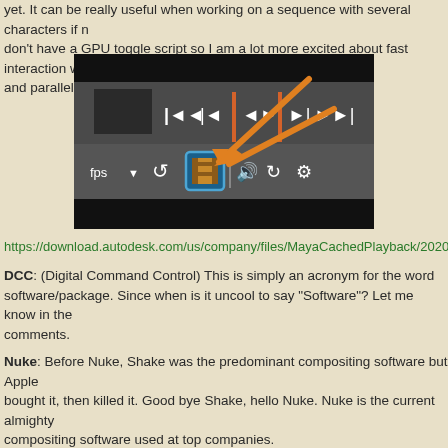yet. It can be really useful when working on a sequence with several characters if n don't have a GPU toggle script so I am a lot more excited about fast interaction with and parallel evaluation for the most part.
[Figure (screenshot): Screenshot of a Maya playback toolbar with an orange arrow pointing to a cached playback icon button. The toolbar shows transport controls and various playback buttons on a dark background.]
https://download.autodesk.com/us/company/files/MayaCachedPlayback/2020/May
DCC: (Digital Command Control) This is simply an acronym for the word software/package. Since when is it uncool to say "Software"? Let me know in the comments.
Nuke: Before Nuke, Shake was the predominant compositing software but Apple bought it, then killed it. Good bye Shake, hello Nuke. Nuke is the current almighty compositing software used at top companies.